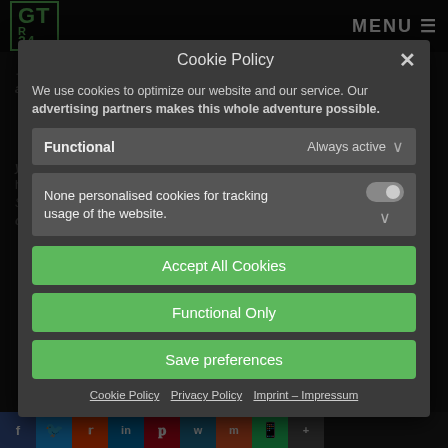GTR 24 | MENU
Cookie Policy
We use cookies to optimize our website and our service. Our advertising partners makes this whole adventure possible.
Functional — Always active
None personalised cookies for tracking usage of the website.
Accept All Cookies
Functional Only
Save preferences
Cookie Policy  Privacy Policy  Imprint – Impressum
Social sharing bar: Facebook, Twitter, Reddit, LinkedIn, Pinterest, WordPress, Mix, WhatsApp, More